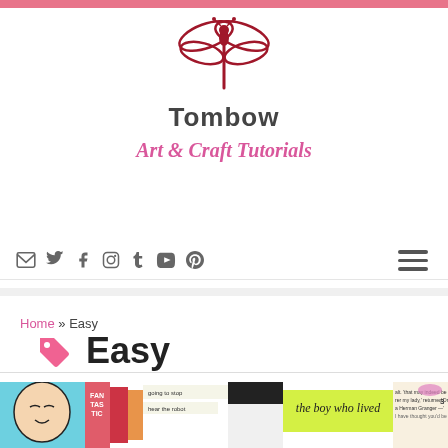Tombow Art & Craft Tutorials
[Figure (logo): Tombow dragonfly logo with brand name and tagline 'Art & Craft Tutorials']
Home » Easy
Easy
[Figure (photo): Collage of book-themed craft projects including pop-art style illustrations, colorful book spines, and a label reading 'the boy who lived']